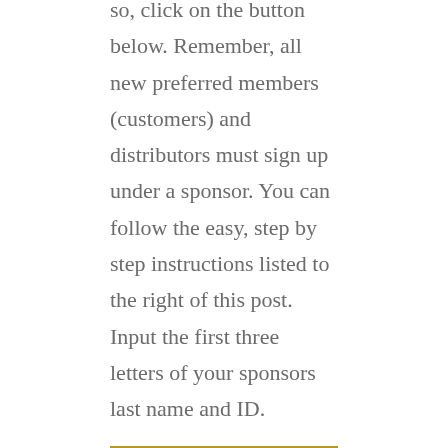so, click on the button below. Remember, all new preferred members (customers) and distributors must sign up under a sponsor. You can follow the easy, step by step instructions listed to the right of this post. Input the first three letters of your sponsors last name and ID.
[Figure (other): Black button with gold border reading JOIN HERBALIFE TODAY]
Why Invest in The Herbalife Membership Fee India Residents?
Well, I am fully aware that many of my website viewers will not want to start their own Herbalife business. The good news is you don't have to. The even better news is you can sign up as preferred